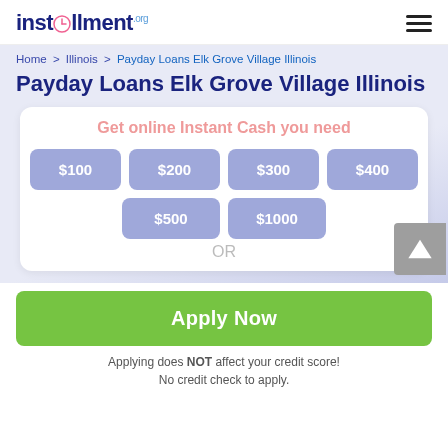installment.org
Home > Illinois > Payday Loans Elk Grove Village Illinois
Payday Loans Elk Grove Village Illinois
[Figure (screenshot): Interactive loan amount selector widget with buttons for $100, $200, $300, $400, $500, $1000 and title 'Get online Instant Cash you need']
Apply Now
Applying does NOT affect your credit score!
No credit check to apply.